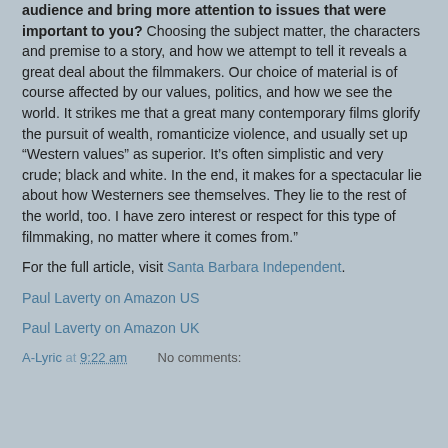audience and bring more attention to issues that were important to you? Choosing the subject matter, the characters and premise to a story, and how we attempt to tell it reveals a great deal about the filmmakers. Our choice of material is of course affected by our values, politics, and how we see the world. It strikes me that a great many contemporary films glorify the pursuit of wealth, romanticize violence, and usually set up “Western values” as superior. It’s often simplistic and very crude; black and white. In the end, it makes for a spectacular lie about how Westerners see themselves. They lie to the rest of the world, too. I have zero interest or respect for this type of filmmaking, no matter where it comes from.”
For the full article, visit Santa Barbara Independent.
Paul Laverty on Amazon US
Paul Laverty on Amazon UK
A-Lyric at 9:22 am   No comments: